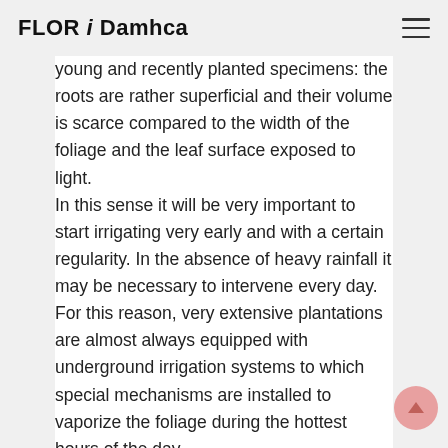FLOR i Damhca
young and recently planted specimens: the roots are rather superficial and their volume is scarce compared to the width of the foliage and the leaf surface exposed to light. In this sense it will be very important to start irrigating very early and with a certain regularity. In the absence of heavy rainfall it may be necessary to intervene every day. For this reason, very extensive plantations are almost always equipped with underground irrigation systems to which special mechanisms are installed to vaporize the foliage during the hottest hours of the day.